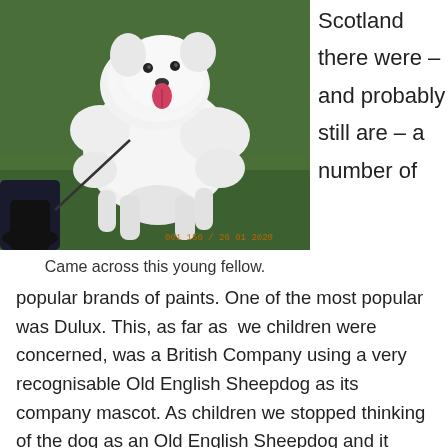[Figure (photo): A fluffy white dog (Samoyed or similar breed) standing on green grass, being held by a person. A date stamp reads: 001 156 / 26 01 2020.]
Scotland there were – and probably still are – a number of
Came across this young fellow.
popular brands of paints. One of the most popular was Dulux. This, as far as  we children were concerned, was a British Company using a very recognisable Old English Sheepdog as its company mascot. As children we stopped thinking of the dog as an Old English Sheepdog and it became – and I expect in the UK at any rate, still is – known as the Dulux Dog.  I liked
Dulux, not really as much for the dog but more for the